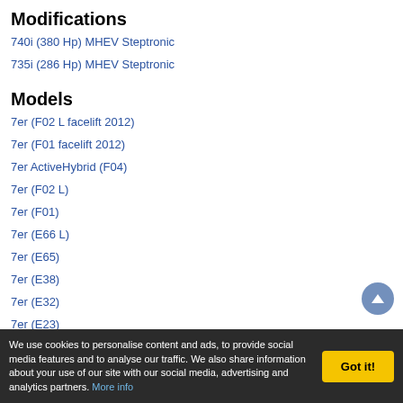Modifications
740i (380 Hp) MHEV Steptronic
735i (286 Hp) MHEV Steptronic
Models
7er (F02 L facelift 2012)
7er (F01 facelift 2012)
7er ActiveHybrid (F04)
7er (F02 L)
7er (F01)
7er (E66 L)
7er (E65)
7er (E38)
7er (E32)
7er (E23)
We use cookies to personalise content and ads, to provide social media features and to analyse our traffic. We also share information about your use of our site with our social media, advertising and analytics partners. More info